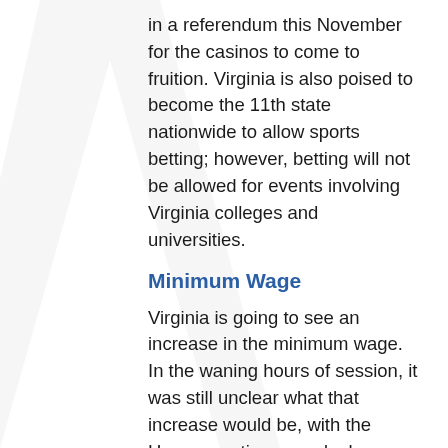in a referendum this November for the casinos to come to fruition. Virginia is also poised to become the 11th state nationwide to allow sports betting; however, betting will not be allowed for events involving Virginia colleges and universities.
Minimum Wage
Virginia is going to see an increase in the minimum wage. In the waning hours of session, it was still unclear what that increase would be, with the House wanting a gradual increase over the next six years — $10 in 2020 and eventually $15 in 2025 — and the Senate opting for increases that would vary from region to region based on median incomes in respective areas. Under